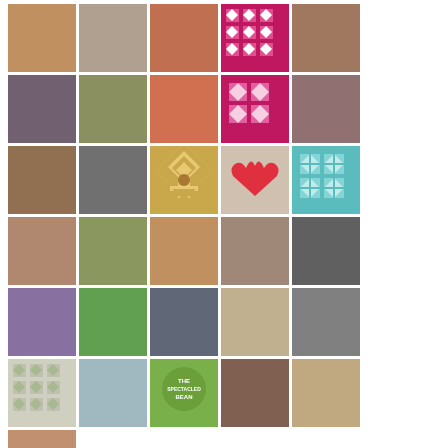[Figure (photo): Grid of profile photos and quilt pattern images arranged in 5 columns, approximately 6 rows visible. Mix of portrait photos of people (women mostly) and decorative quilt/geometric pattern squares.]
CATEGORIES
Select Category